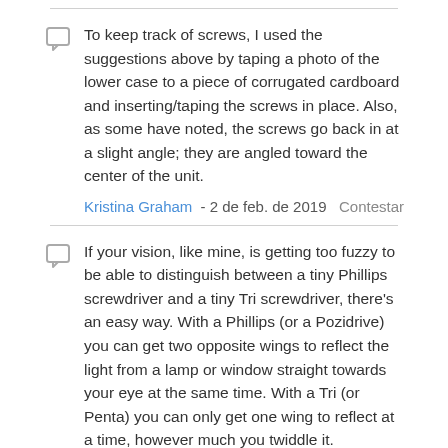To keep track of screws, I used the suggestions above by taping a photo of the lower case to a piece of corrugated cardboard and inserting/taping the screws in place. Also, as some have noted, the screws go back in at a slight angle; they are angled toward the center of the unit.
Kristina Graham - 2 de feb. de 2019   Contestar
If your vision, like mine, is getting too fuzzy to be able to distinguish between a tiny Phillips screwdriver and a tiny Tri screwdriver, there's an easy way. With a Phillips (or a Pozidrive) you can get two opposite wings to reflect the light from a lamp or window straight towards your eye at the same time. With a Tri (or Penta) you can only get one wing to reflect at a time, however much you twiddle it.
Alan Waller - 1 de nov. de 2019   Contestar